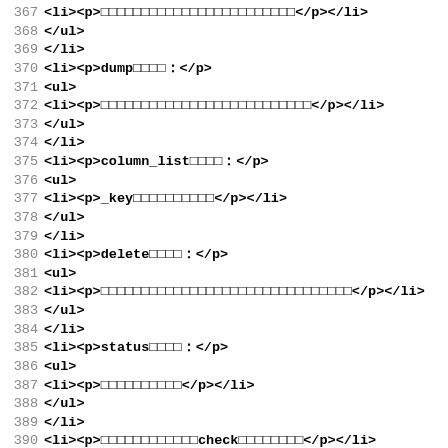367 <li><p>□□□□□□□□□□□□□□□□□□□□□□□□</p></li>
368 </ul>
369 </li>
370 <li><p>dump□□□□：</p>
371 <ul>
372 <li><p>□□□□□□□□□□□□□□□□□□□□□□□□□□</p></li>
373 </ul>
374 </li>
375 <li><p>column_list□□□□：</p>
376 <ul>
377 <li><p>_key□□□□□□□□□□</p></li>
378 </ul>
379 </li>
380 <li><p>delete□□□□：</p>
381 <ul>
382 <li><p>□□□□□□□□□□□□□□□□□□□□□□□□□□□□□□□</p></li>
383 </ul>
384 </li>
385 <li><p>status□□□□：</p>
386 <ul>
387 <li><p>□□□□□□□□□□</p></li>
388 </ul>
389 </li>
390 <li><p>□□□□□□□□□□□□check□□□□□□□□</p></li>
391 <li><p>□□□□□□□□□□□□clearlock□□□□□□□□</p></li>
392 <li><p>□□□□□□□□□□□□cache_limit□□□□□□□□</p></li>
393 <li><p>□□□□□□□□□□□□defrag□□□□□□□□</p></li>
394 <li><p>□□□□□□□□□□□□□□□□□□□□□□□□</p></li>
395 </ul>
396 </section>